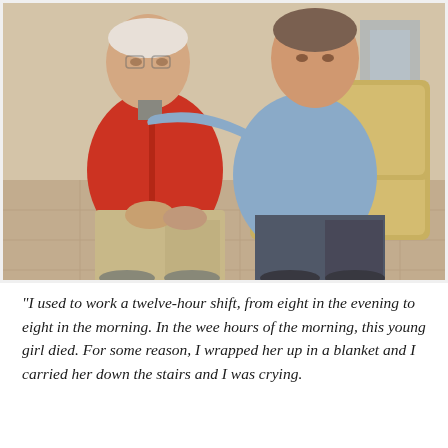[Figure (photo): Two men sitting side by side in what appears to be a lobby or waiting area. The older man on the left is wearing a red zip-up hoodie and light khaki pants. The younger man on the right has his arm around the older man and is wearing a light blue button-down shirt and dark gray pants. They are seated on or near a tan/beige leather chair.]
“I used to work a twelve-hour shift, from eight in the evening to eight in the morning. In the wee hours of the morning, this young girl died. For some reason, I wrapped her up in a blanket and I carried her down the stairs and I was crying.